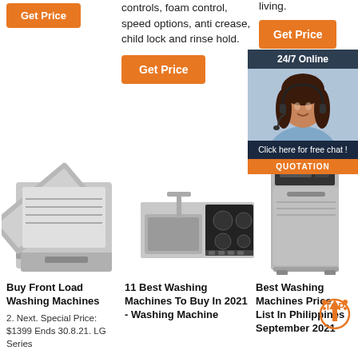controls, foam control, speed options, anti crease, child lock and rinse hold.
Get Price
living.
Get Price
[Figure (infographic): 24/7 Online chat widget with woman in headset and QUOTATION button]
[Figure (photo): Front load dishwasher open showing interior rack]
[Figure (photo): Stainless steel kitchen sink with black cooktop]
[Figure (photo): Slim dishwasher unit]
Buy Front Load Washing Machines
2. Next. Special Price: $1399 Ends 30.8.21. LG Series
11 Best Washing Machines To Buy In 2021 - Washing Machine
Best Washing Machines Price List In Philippines September 2021